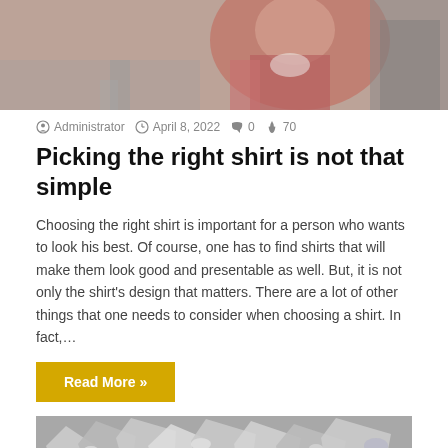[Figure (photo): Top cropped photo showing a person walking in a red/pink jacket, street scene]
Administrator  April 8, 2022  0  70
Picking the right shirt is not that simple
Choosing the right shirt is important for a person who wants to look his best. Of course, one has to find shirts that will make them look good and presentable as well. But, it is not only the shirt's design that matters. There are a lot of other things that one needs to consider when choosing a shirt. In fact,…
Read More »
[Figure (photo): Bottom photo showing close-up of diamonds or crystals in black and white]